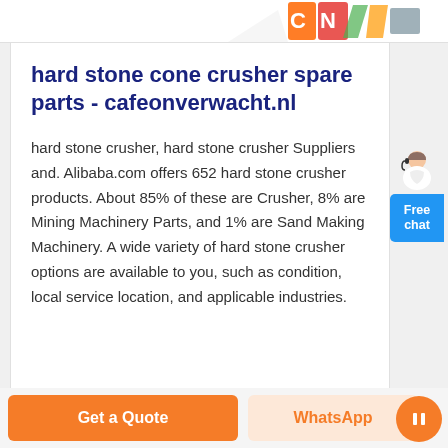[Figure (screenshot): Partial top banner of a website showing colorful logo elements including 'CN' text in orange/red/green colors with decorative shapes]
hard stone cone crusher spare parts - cafeonverwacht.nl
hard stone crusher, hard stone crusher Suppliers and. Alibaba.com offers 652 hard stone crusher products. About 85% of these are Crusher, 8% are Mining Machinery Parts, and 1% are Sand Making Machinery. A wide variety of hard stone crusher options are available to you, such as condition, local service location, and applicable industries.
[Figure (screenshot): Free chat button widget (blue) with a person/agent illustration above it on the right side of the page]
Get a Quote  WhatsApp